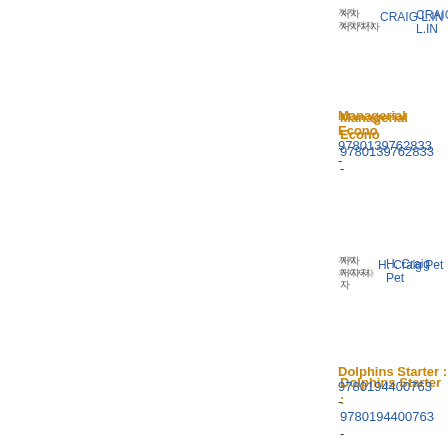저자 Craig L.IN... (truncated)
Managerial Econo... 9780139762833 - H. Craig Pet...
Dolphins Starter : ... 9780194400763 - Craig Wrigh...
Dolphins Starter : ... 9780194400770 - Craig Wrigh...
Dolphins 2 : Doub... 9780194400916 -